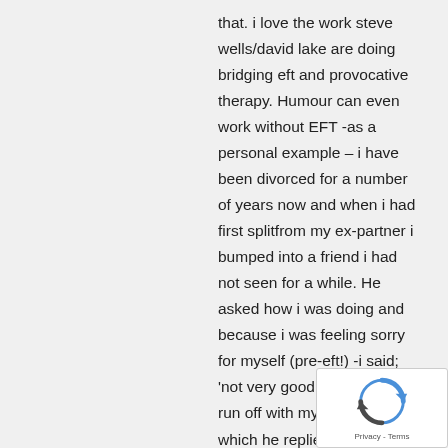that. i love the work steve wells/david lake are doing bridging eft and provocative therapy. Humour can even work without EFT -as a personal example – i have been divorced for a number of years now and when i had first splitfrom my ex-partner i bumped into a friend i had not seen for a while. He asked how i was doing and because i was feeling sorry for myself (pre-eft!) -i said; 'not very good – my wife has run off with my mate'! to which he replied: 'i bet you really miss HIM -don't you! Well i stood there, in a shocked trance-like state -as i could not process his comment – (it was like a scene from a cowboy film where he rides into a ghost town with the wind blowing and the tum weed and everything!) – he then broke my tra by saying – 'mike, i was only joking!' . that was a
[Figure (other): reCAPTCHA widget with Privacy - Terms text overlay in bottom right corner]